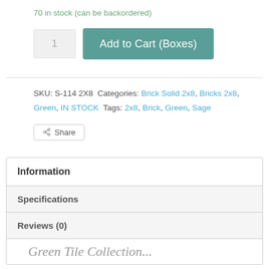70 in stock (can be backordered)
1  Add to Cart (Boxes)
SKU: S-114 2X8 Categories: Brick Solid 2x8, Bricks 2x8, Green, IN STOCK Tags: 2x8, Brick, Green, Sage
Share
| Information |
| Specifications |
| Reviews (0) |